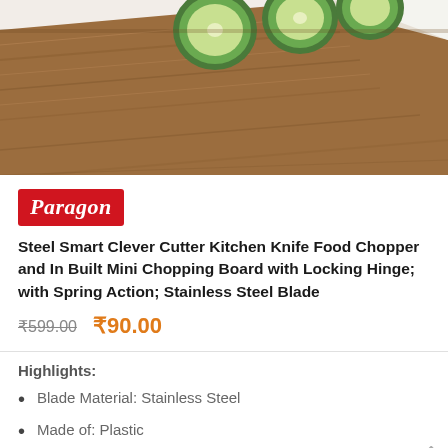[Figure (photo): Cutting board with sliced cucumber rounds on a wooden surface, white background visible at right edge.]
Paragon (logo)
Steel Smart Clever Cutter Kitchen Knife Food Chopper and In Built Mini Chopping Board with Locking Hinge; with Spring Action; Stainless Steel Blade
₹599.00  ₹90.00
Highlights:
Blade Material: Stainless Steel
Made of: Plastic
Type: Slicer
Ideal For: Vegetable